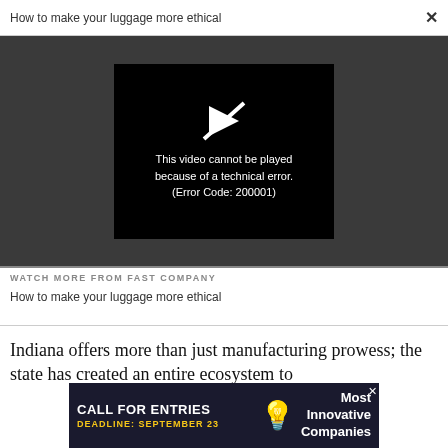How to make your luggage more ethical
[Figure (screenshot): Video player showing error: 'This video cannot be played because of a technical error. (Error Code: 200001)' on a dark background with a play icon crossed out]
WATCH MORE FROM FAST COMPANY
How to make your luggage more ethical
Indiana offers more than just manufacturing prowess; the state has created an entire ecosystem to
[Figure (infographic): Advertisement banner: CALL FOR ENTRIES, DEADLINE: SEPTEMBER 23, Most Innovative Companies]